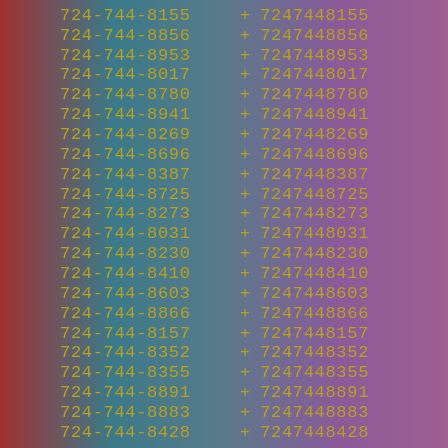724-744-8155 + 7247448155
724-744-8856 + 7247448856
724-744-8953 + 7247448953
724-744-8017 + 7247448017
724-744-8780 + 7247448780
724-744-8941 + 7247448941
724-744-8269 + 7247448269
724-744-8696 + 7247448696
724-744-8387 + 7247448387
724-744-8725 + 7247448725
724-744-8273 + 7247448273
724-744-8031 + 7247448031
724-744-8230 + 7247448230
724-744-8410 + 7247448410
724-744-8603 + 7247448603
724-744-8866 + 7247448866
724-744-8157 + 7247448157
724-744-8352 + 7247448352
724-744-8355 + 7247448355
724-744-8891 + 7247448891
724-744-8883 + 7247448883
724-744-8428 + 7247448428